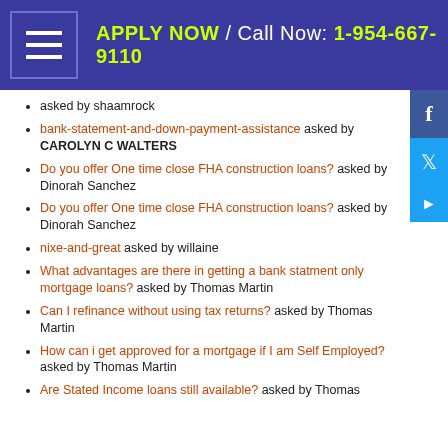APPLY NOW / Call Now: 1-954-667-9110
asked by shaamrock
bank-statement-and-down-payment-assistance asked by CAROLYN C WALTERS
Do you offer One time close FHA construction loans? asked by Dinorah Sanchez
Do you offer One time close FHA construction loans? asked by Dinorah Sanchez
nixe-and-great asked by willaine
What advantages are there in getting a bank statment only mortgage loans? asked by Thomas Martin
Can I refinance without using tax returns? asked by Thomas Martin
How can i get approved for a mortgage if I am Self Employed? asked by Thomas Martin
Are Stated Income loans still available? asked by Thomas